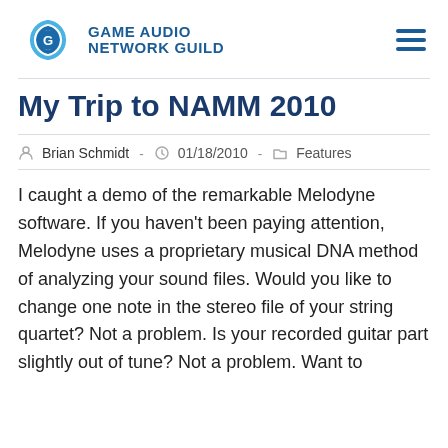GAME AUDIO NETWORK GUILD
My Trip to NAMM 2010
Brian Schmidt  -  01/18/2010  -  Features
I caught a demo of the remarkable Melodyne software. If you haven't been paying attention, Melodyne uses a proprietary musical DNA method of analyzing your sound files. Would you like to change one note in the stereo file of your string quartet? Not a problem. Is your recorded guitar part slightly out of tune? Not a problem. Want to